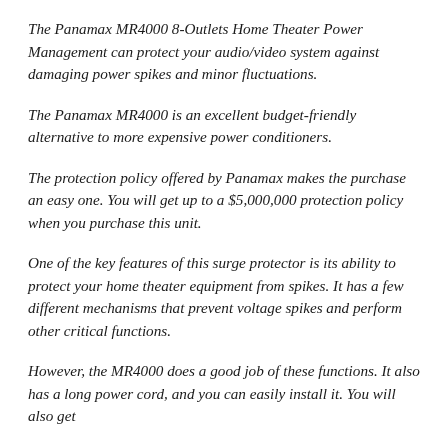The Panamax MR4000 8-Outlets Home Theater Power Management can protect your audio/video system against damaging power spikes and minor fluctuations.
The Panamax MR4000 is an excellent budget-friendly alternative to more expensive power conditioners.
The protection policy offered by Panamax makes the purchase an easy one. You will get up to a $5,000,000 protection policy when you purchase this unit.
One of the key features of this surge protector is its ability to protect your home theater equipment from spikes. It has a few different mechanisms that prevent voltage spikes and perform other critical functions.
However, the MR4000 does a good job of these functions. It also has a long power cord, and you can easily install it. You will also get